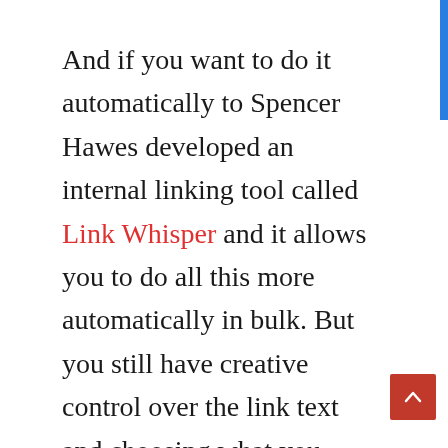And if you want to do it automatically to Spencer Hawes developed an internal linking tool called Link Whisper and it allows you to do all this more automatically in bulk. But you still have creative control over the link text and choosing what you actually want to do. So I'd recommend checking that out. If you have a huge site you just want to internal link everything together or just doing it manually but internal linking is really worth it. Especially just to give